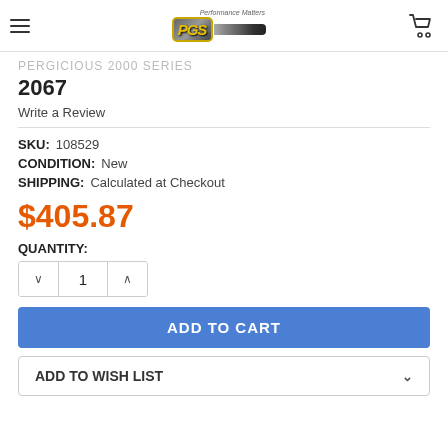PGS Performance Matters — Navigation header with logo and cart
PERGICIOUS 2000 SERIES
2067
Write a Review
SKU: 108529
CONDITION: New
SHIPPING: Calculated at Checkout
$405.87
QUANTITY:
1
ADD TO CART
ADD TO WISH LIST